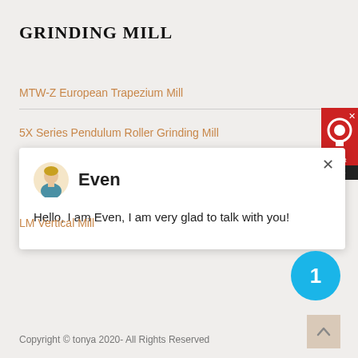GRINDING MILL
MTW-Z European Trapezium Mill
5X Series Pendulum Roller Grinding Mill
[Figure (screenshot): Chat popup with avatar of agent named Even, message: Hello, I am Even, I am very glad to talk with you!]
LM Vertical Mill
[Figure (infographic): Blue circle badge with number 1]
[Figure (infographic): Scroll-to-top button with upward arrow]
Copyright © tonya 2020- All Rights Reserved